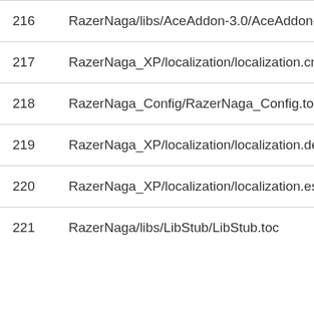| # | Path |
| --- | --- |
| 216 | RazerNaga/libs/AceAddon-3.0/AceAddon-3.0.lua |
| 217 | RazerNaga_XP/localization/localization.cn.lua |
| 218 | RazerNaga_Config/RazerNaga_Config.toc |
| 219 | RazerNaga_XP/localization/localization.de.lua |
| 220 | RazerNaga_XP/localization/localization.esMX.lua |
| 221 | RazerNaga/libs/LibStub/LibStub.toc |